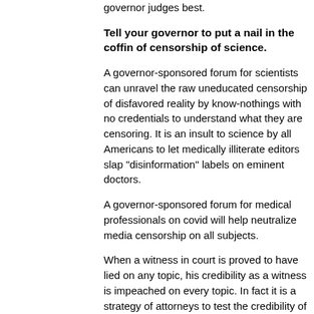governor judges best.
Tell your governor to put a nail in the coffin of censorship of science.
A governor-sponsored forum for scientists can unravel the raw uneducated censorship of disfavored reality by know-nothings with no credentials to understand what they are censoring. It is an insult to science by all Americans to let medically illiterate editors slap "disinformation" labels on eminent doctors.
A governor-sponsored forum for medical professionals on covid will help neutralize media censorship on all subjects.
When a witness in court is proved to have lied on any topic, his credibility as a witness is impeached on every topic. In fact it is a strategy of attorneys to test the credibility of witnesses on topics which juries don't care about but which can be verified, to judge whether they can be trusted on subjects we care much about but which we can't verify without them.
When the purveyors of “disinformation” labels are proved to be not merely uneducated but liars, their every subsequent use of the label will only produce laughter. And every subsequent publisher after them is served notice that if he